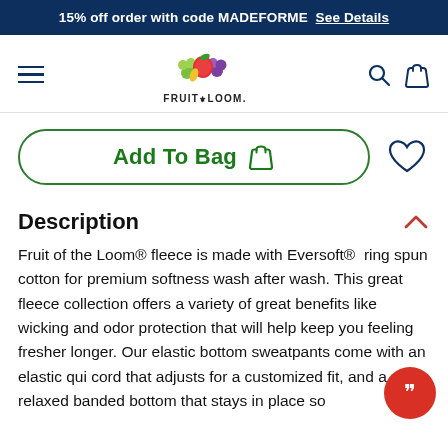15% off order with code MADEFORME  See Details
[Figure (logo): Fruit of the Loom logo with colorful fruit illustration and brand name text]
[Figure (other): Add To Bag button with shopping bag icon and heart/wishlist icon]
Description
Fruit of the Loom® fleece is made with Eversoft®  ring spun cotton for premium softness wash after wash. This great fleece collection offers a variety of great benefits like wicking and odor protection that will help keep you feeling fresher longer. Our elastic bottom sweatpants come with an elastic qui cord that adjusts for a customized fit, and a relaxed banded bottom that stays in place so